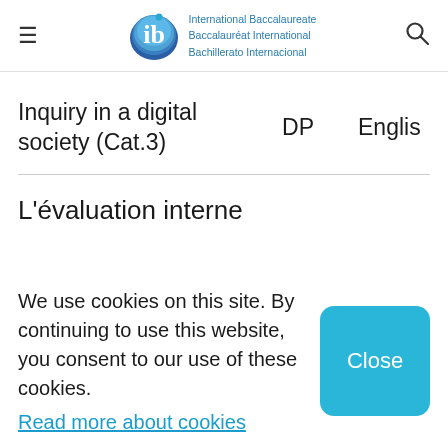International Baccalaureate Baccalauréat International Bachillerato Internacional
Inquiry in a digital society (Cat.3)
DP
Englis
L'évaluation interne
We use cookies on this site. By continuing to use this website, you consent to our use of these cookies. Read more about cookies